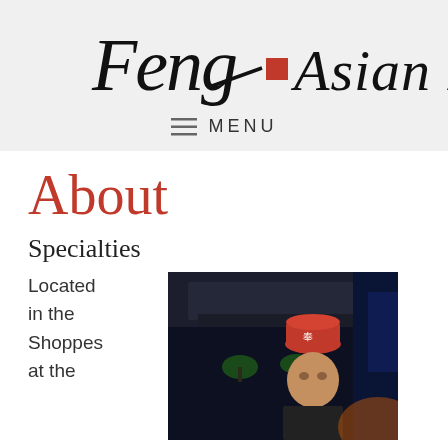[Figure (logo): Feng Asian Bistro logo with calligraphic script text and red Chinese character box]
MENU
About
Specialties
Located in the Shoppes at the
[Figure (photo): Chef in orange/red hat in a dark restaurant kitchen setting]